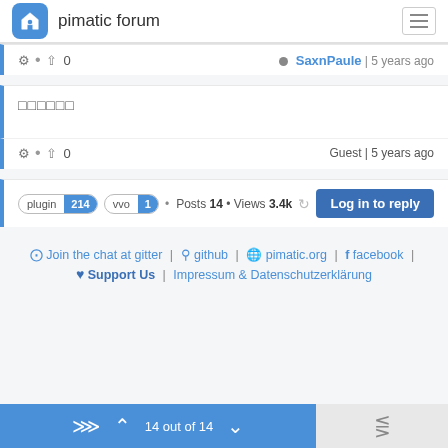pimatic forum
SaxnPaule | 5 years ago
□□□□□□
Guest | 5 years ago
plugin 214 • vvo 1 • Posts 14 • Views 3.4k  Log in to reply
Join the chat at gitter | github | pimatic.org | facebook | ♥ Support Us | Impressum & Datenschutzerklärung
14 out of 14